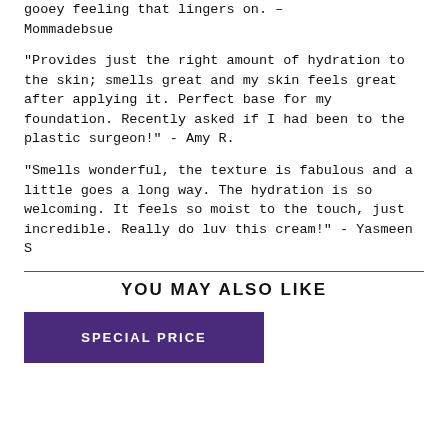gooey feeling that lingers on.  –  Mommadebsue
"Provides just the right amount of hydration to the skin; smells great and my skin feels great after applying it. Perfect base for my foundation. Recently asked if I had been to the plastic surgeon!" - Amy R.
"Smells wonderful, the texture is fabulous and a little goes a long way. The hydration is so welcoming. It feels so moist to the touch, just incredible. Really do luv this cream!" - Yasmeen S
YOU MAY ALSO LIKE
SPECIAL PRICE